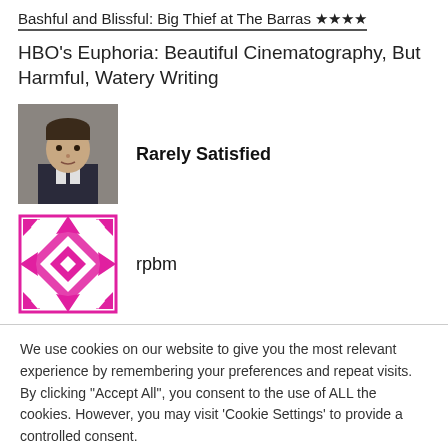Bashful and Blissful: Big Thief at The Barras ★★★★
HBO's Euphoria: Beautiful Cinematography, But Harmful, Watery Writing
Rarely Satisfied
rpbm
We use cookies on our website to give you the most relevant experience by remembering your preferences and repeat visits. By clicking "Accept All", you consent to the use of ALL the cookies. However, you may visit 'Cookie Settings' to provide a controlled consent.